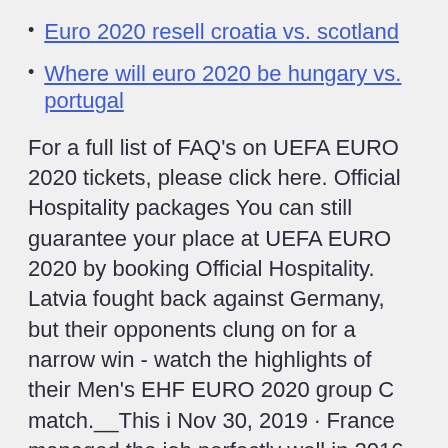Euro 2020 resell croatia vs. scotland
Where will euro 2020 be hungary vs. portugal
For a full list of FAQ's on UEFA EURO 2020 tickets, please click here. Official Hospitality packages You can still guarantee your place at UEFA EURO 2020 by booking Official Hospitality. Latvia fought back against Germany, but their opponents clung on for a narrow win - watch the highlights of their Men's EHF EURO 2020 group C match.__This i Nov 30, 2019 · France managed the job perfectly well in 2016 but interest in hosting 2020 was a bit thin on the ground. The only bids for the finals came from Turkey, a joint effort from Ireland, Scotland and UEFA Euro 2020 is an upcoming international football tournament held across eleven